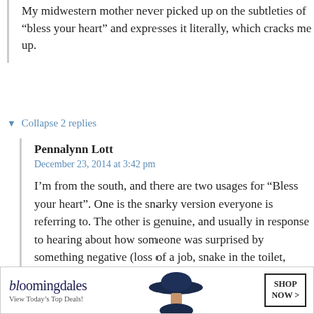My midwestern mother never picked up on the subtleties of “bless your heart” and expresses it literally, which cracks me up.
▼ Collapse 2 replies
Pennalynn Lott
December 23, 2014 at 3:42 pm
I’m from the south, and there are two usages for “Bless your heart”. One is the snarky version everyone is referring to. The other is genuine, and usually in response to hearing about how someone was surprised by something negative (loss of a job, snake in the toilet, burglar breaking into their house, freak accident, etc.) in which it’s appropriate to express sympathy by saying, “Bless you[CLOSE]! You [ad]back.”
[Figure (other): Bloomingdale's advertisement banner. Shows Bloomingdale's logo, 'View Today's Top Deals!' tagline, woman in large hat image, and 'SHOP NOW >' button.]